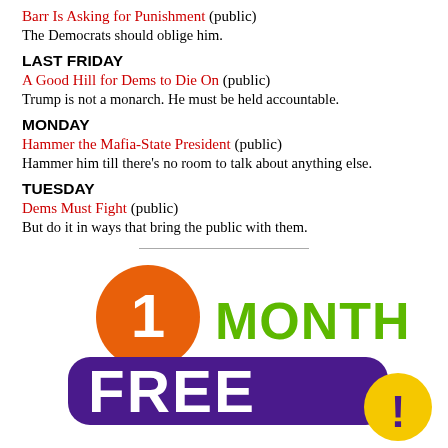Barr Is Asking for Punishment (public)
The Democrats should oblige him.
LAST FRIDAY
A Good Hill for Dems to Die On (public)
Trump is not a monarch. He must be held accountable.
MONDAY
Hammer the Mafia-State President (public)
Hammer him till there's no room to talk about anything else.
TUESDAY
Dems Must Fight (public)
But do it in ways that bring the public with them.
[Figure (infographic): 1 Month Free promotional graphic with orange circle containing '1', green 'MONTH' text, purple banner, and white 'FREE' text with yellow exclamation badge]